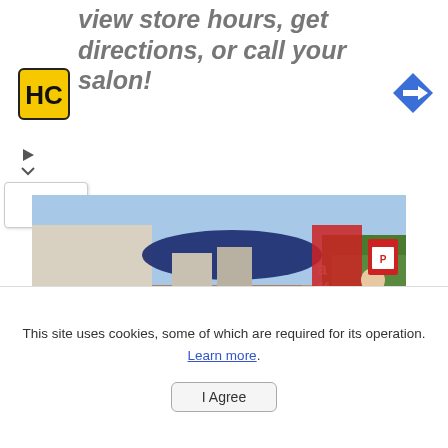view store hours, get directions, or call your salon!
[Figure (logo): HC logo - yellow square with black HC letters]
[Figure (photo): Outdoor cafe scene with people seated at red chairs under blue umbrella, red banners, white columns, street view]
Share
[Figure (logo): Facebook share button - blue square with white F]
[Figure (logo): WhatsApp share button - green square with white phone icon]
This site uses cookies, some of which are required for its operation. Learn more.
I Agree